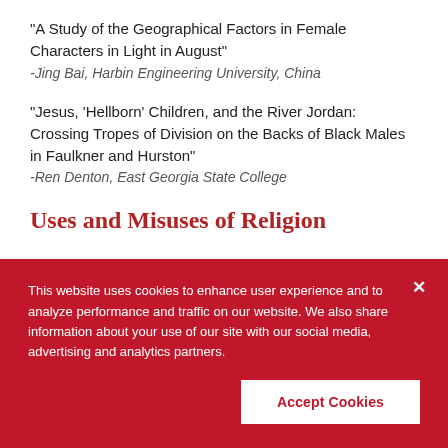"A Study of the Geographical Factors in Female Characters in Light in August"
-Jing Bai, Harbin Engineering University, China
"Jesus, 'Hellborn' Children, and the River Jordan: Crossing Tropes of Division on the Backs of Black Males in Faulkner and Hurston"
-Ren Denton, East Georgia State College
Uses and Misuses of Religion
This website uses cookies to enhance user experience and to analyze performance and traffic on our website. We also share information about your use of our site with our social media, advertising and analytics partners.
Accept Cookies